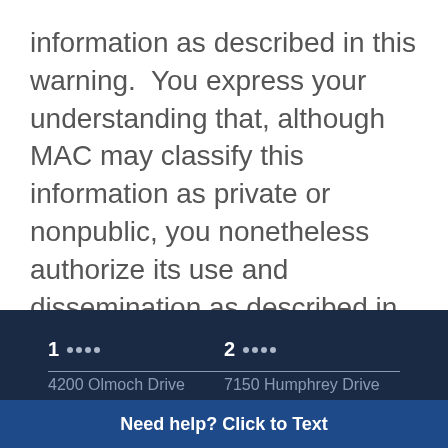information as described in this warning.  You express your understanding that, although MAC may classify this information as private or nonpublic, you nonetheless authorize its use and dissemination as described in this warning.
1 ●●●●  4200 Olomoch Drive     2 ●●●●  7150 Humphrey Drive
Need help? Click to Text